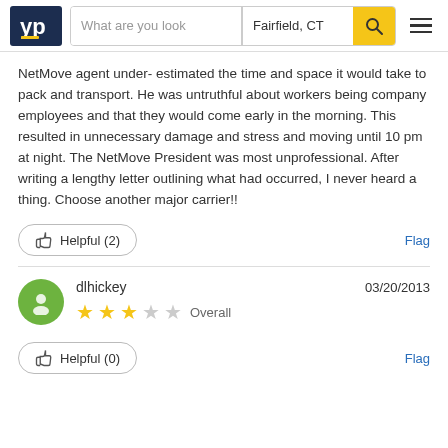YP | What are you look | Fairfield, CT
NetMove agent under- estimated the time and space it would take to pack and transport. He was untruthful about workers being company employees and that they would come early in the morning. This resulted in unnecessary damage and stress and moving until 10 pm at night. The NetMove President was most unprofessional. After writing a lengthy letter outlining what had occurred, I never heard a thing. Choose another major carrier!!
Helpful (2)
Flag
dlhickey  03/20/2013
Overall
Helpful (0)
Flag